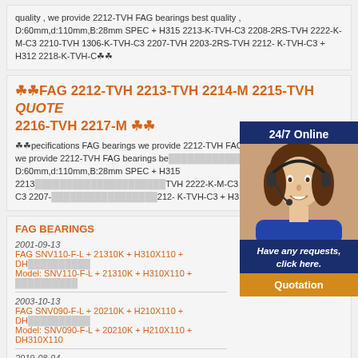quality , we provide 2212-TVH FAG bearings best quality , D:60mm,d:110mm,B:28mm SPEC + H315 2213-K-TVH-C3 2208-2RS-TVH 2222-K-M-C3 2210-TVH 1306-K-TVH-C3 2207-TVH 2203-2RS-TVH 2212-K-TVH-C3 + H312 2218-K-TVH-C☸☸
☸☸FAG 2212-TVH 2213-TVH 2214-M 2215-TVH QUOTE 2216-TVH 2217-M ☸☸
☸☸pecifications FAG bearings we provide 2212-TVH FAG bearings best quality , we provide 2212-TVH FAG bearings best quality , D:60mm,d:110mm,B:28mm SPEC + H315 2213-K-TVH-C3 2222-K-M-C3 2210-TVH 1306-K-TVH-C3 2207-TVH K-TVH-C3 + H312 2218-K-TVH-C☸☸
[Figure (illustration): Customer service widget overlay showing a woman with headset and 24/7 Online label, with 'Have any requests, click here.' message and Quotation button]
FAG BEARINGS
2001-09-13
FAG SNV110-F-L + 21310K + H310X110 + DH...
Model: SNV110-F-L + 21310K + H310X110 + ...
2003-10-13
FAG SNV090-F-L + 20210K + H210X110 + DH...
Model: SNV090-F-L + 20210K + H210X110 + DH310X110
2019-08-04